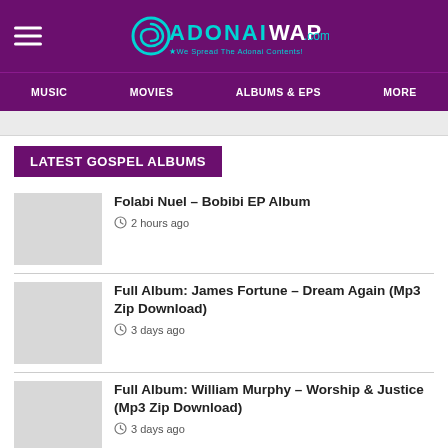AdonaiWap.com — We Spread The Adonai Contents!
LATEST GOSPEL ALBUMS
Folabi Nuel – Bobibi EP Album
2 hours ago
Full Album: James Fortune – Dream Again (Mp3 Zip Download)
3 days ago
Full Album: William Murphy – Worship & Justice (Mp3 Zip Download)
3 days ago